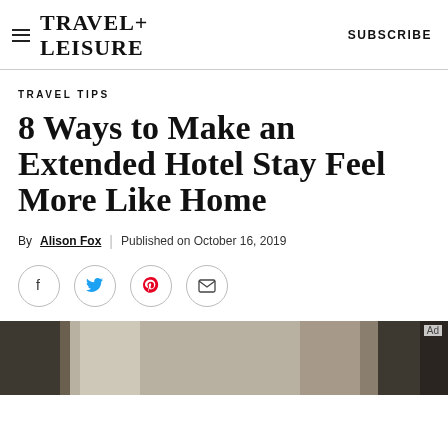TRAVEL+ LEISURE   SUBSCRIBE
TRAVEL TIPS
8 Ways to Make an Extended Hotel Stay Feel More Like Home
By Alison Fox | Published on October 16, 2019
[Figure (other): Social share icons: Facebook, Twitter, Pinterest, Email — each in a circle]
[Figure (photo): Hotel room interior with curtains and window light, partially visible]